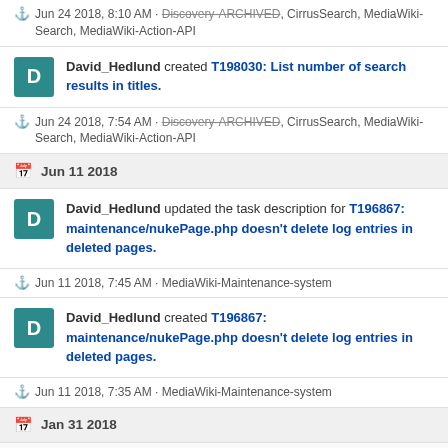⚓ Jun 24 2018, 8:10 AM · Discovery-ARCHIVED, CirrusSearch, MediaWiki-Search, MediaWiki-Action-API
David_Hedlund created T198030: List number of search results in titles.
⚓ Jun 24 2018, 7:54 AM · Discovery-ARCHIVED, CirrusSearch, MediaWiki-Search, MediaWiki-Action-API
Jun 11 2018
David_Hedlund updated the task description for T196867: maintenance/nukePage.php doesn't delete log entries in deleted pages.
⚓ Jun 11 2018, 7:45 AM · MediaWiki-Maintenance-system
David_Hedlund created T196867: maintenance/nukePage.php doesn't delete log entries in deleted pages.
⚓ Jun 11 2018, 7:35 AM · MediaWiki-Maintenance-system
Jan 31 2018